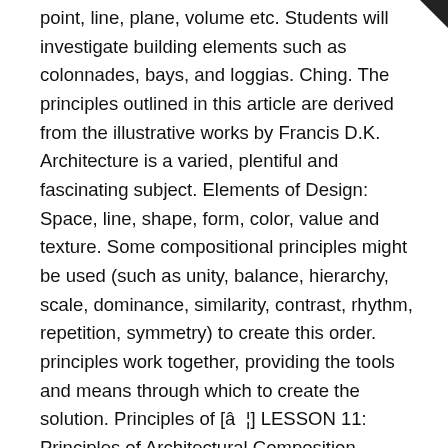point, line, plane, volume etc. Students will investigate building elements such as colonnades, bays, and loggias. Ching. The principles outlined in this article are derived from the illustrative works by Francis D.K. Architecture is a varied, plentiful and fascinating subject. Elements of Design: Space, line, shape, form, color, value and texture. Some compositional principles might be used (such as unity, balance, hierarchy, scale, dominance, similarity, contrast, rhythm, repetition, symmetry) to create this order. principles work together, providing the tools and means through which to create the solution. Principles of [â¦] LESSON 11: Principles of Architectural Composition. Interior designers use a variety of elements and principles to create a space that is aesthetically pleasing. Everybody immediately responds to subject matter in art. We enjoy poetry, story or a literature because of how it organized with its sentence structure, style of presentation, phrases used, etc. The elements are the things we work with; the principles are what we do with them. In architectural composition the elements must be arranged in such a way as to ensure the domination of the less important parts by the major masses of the building. This lesson will ask students to grasp concepts of organizational structures such as grids and